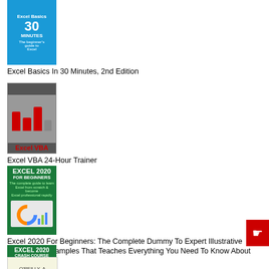[Figure (photo): Book cover: Excel Basics In 30 Minutes, 2nd Edition - blue cover with clock graphic]
Excel Basics In 30 Minutes, 2nd Edition
[Figure (photo): Book cover: Excel VBA 24-Hour Trainer - grey cover with red Excel VBA text]
Excel VBA 24-Hour Trainer
[Figure (photo): Book cover: Excel 2020 For Beginners - green cover with chart graphic]
Excel 2020 For Beginners: The Complete Dummy To Expert Illustrative Guide With Examples That Teaches Everything You Need To Know About Microsoft Excel
[Figure (photo): Book cover: EXCEL 2020 CRASH COURSE - green cover with pie chart]
EXCEL 2020 CRASH COURSE: The Complete Beginner to Expert Guide That Teaches Everything You Need to Know About Microsoft Excel 2020
[Figure (photo): Book cover: O'Reilly book - partial view at bottom]